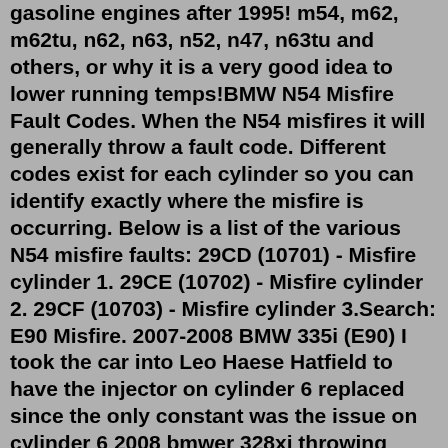gasoline engines after 1995! m54, m62, m62tu, n62, n63, n52, n47, n63tu and others, or why it is a very good idea to lower running temps!BMW N54 Misfire Fault Codes. When the N54 misfires it will generally throw a fault code. Different codes exist for each cylinder so you can identify exactly where the misfire is occurring. Below is a list of the various N54 misfire faults: 29CD (10701) - Misfire cylinder 1. 29CE (10702) - Misfire cylinder 2. 29CF (10703) - Misfire cylinder 3.Search: E90 Misfire. 2007-2008 BMW 335i (E90) I took the car into Leo Haese Hatfield to have the injector on cylinder 6 replaced since the only constant was the issue on cylinder 6 2008 bmwer 328xi throwing random misfire code p0300 along with misfire codes for cylinder 4,5,and 6 I did some of the basics (oil change, spark plugs) MOT has ran out although i see no reason why it would not fly ...My e90 330i runs rough on cold start up and unless I drive off immediately it develops a misfire cyl 3. I have replaced all plugs, coils and cyl 3 injector and still